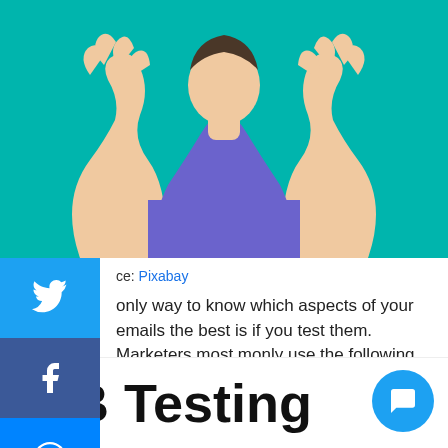[Figure (illustration): Illustration of a person with both hands raised upward, wearing a purple top, against a teal/green background. Cropped to show upper body and hands.]
Source: Pixabay
only way to know which aspects of your emails the best is if you test them. Marketers most monly use the following two types of tests:
A/B testing
2. Multivariate testing
A/B Testing